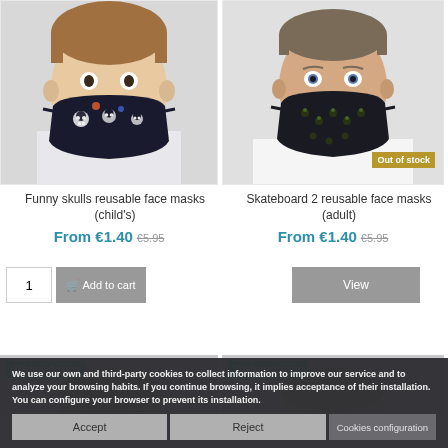[Figure (photo): Child wearing a dark face mask with colorful skull pattern]
[Figure (photo): Adult man wearing a black face mask with small pattern motifs, showing 'Out of stock' badge]
Funny skulls reusable face masks (child's)
Skateboard 2 reusable face masks (adult)
From €1.40 €5.95
From €1.40 €5.95
Reduced price
Reduced price
We use our own and third-party cookies to collect information to improve our service and to analyze your browsing habits. If you continue browsing, it implies acceptance of their installation. You can configure your browser to prevent its installation.